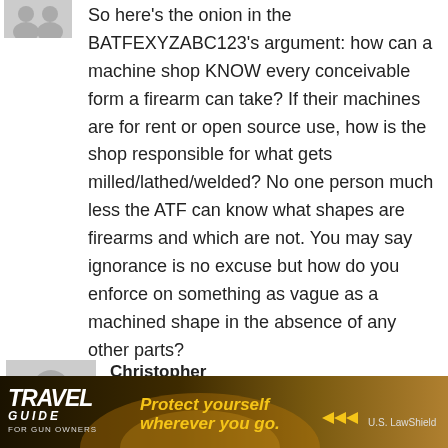[Figure (illustration): Partially visible gray avatar silhouette icons at top left]
So here's the onion in the BATFEXYZABC123's argument: how can a machine shop KNOW every conceivable form a firearm can take? If their machines are for rent or open source use, how is the shop responsible for what gets milled/lathed/welded? No one person much less the ATF can know what shapes are firearms and which are not. You may say ignorance is no excuse but how do you enforce on something as vague as a machined shape in the absence of any other parts?
Reply
[Figure (illustration): Gray avatar silhouette for Christopher's comment]
Christopher
January 6, 2015 At 16:27
The atf just needs sued again. As usual every ... at least it ... e violating
[Figure (illustration): Travel Guide for Gun Owners advertisement banner at the bottom of the page: dark background with 'TRAVEL GUIDE FOR GUN OWNERS' text on left, 'Protect yourself wherever you go.' with arrows in center, and 'U.S. LawShield' on right]